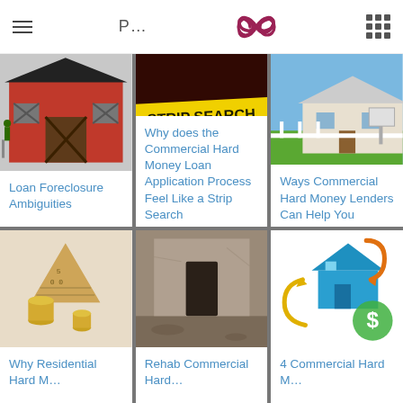P... [logo] [menu]
[Figure (screenshot): Pixel-art cartoon of a closed/boarded-up red building]
Loan Foreclosure Ambiguities
[Figure (photo): Dark photo with yellow crime-scene tape reading 'STRIP SEARCH']
Why does the Commercial Hard Money Loan Application Process Feel Like a Strip Search
[Figure (photo): Photo of a house with a white fence and green lawn with a real estate sign]
Ways Commercial Hard Money Lenders Can Help You
[Figure (photo): Photo of coins and euro banknotes shaped like a house (pyramid)]
Why Residential Hard M...
[Figure (photo): Photo of an abandoned interior room with weathered walls]
Rehab Commercial Hard...
[Figure (illustration): Illustration of a house with recycling/cycle arrows and a dollar sign]
4 Commercial Hard M...